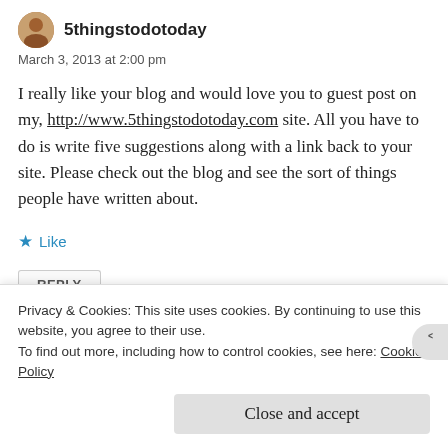5thingstodotoday
March 3, 2013 at 2:00 pm
I really like your blog and would love you to guest post on my, http://www.5thingstodotoday.com site. All you have to do is write five suggestions along with a link back to your site. Please check out the blog and see the sort of things people have written about.
★ Like
REPLY
Privacy & Cookies: This site uses cookies. By continuing to use this website, you agree to their use.
To find out more, including how to control cookies, see here: Cookie Policy
Close and accept